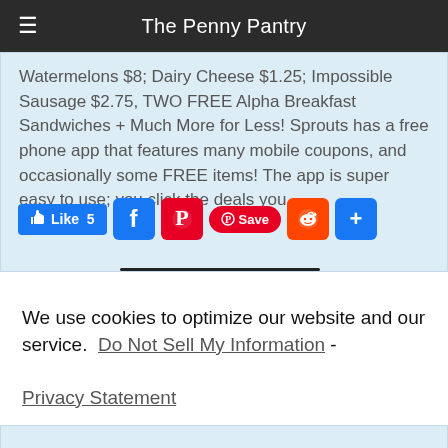The Penny Pantry
Watermelons $8; Dairy Cheese $1.25; Impossible Sausage $2.75, TWO FREE Alpha Breakfast Sandwiches + Much More for Less! Sprouts has a free phone app that features many mobile coupons, and occasionally some FREE items! The app is super easy to use; you click the deals you...
[Figure (other): Social share buttons: Facebook Like (5), Facebook, Pinterest, Pinterest Save, Reddit, and a plus/more share button]
We use cookies to optimize our website and our service.  Do Not Sell My Information  -  Privacy Statement
Accept